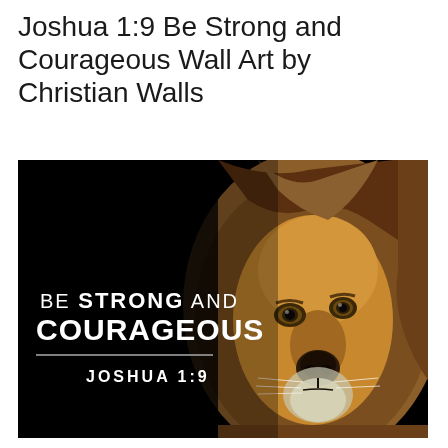Joshua 1:9 Be Strong and Courageous Wall Art by Christian Walls
[Figure (illustration): Wall art product image featuring a majestic lion on a black background with white text reading 'BE STRONG AND COURAGEOUS' and 'JOSHUA 1:9' below a decorative horizontal line.]